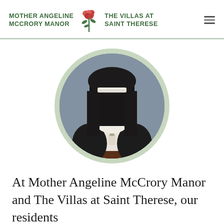MOTHER ANGELINE McCRORY MANOR | THE VILLAS AT SAINT THERESE
[Figure (illustration): Circular portrait painting of a nun wearing a white wimple and black habit with a brown scapular, with a gray background. The portrait is framed in a circular shape with a sage green border.]
At Mother Angeline McCrory Manor and The Villas at Saint Therese, our residents